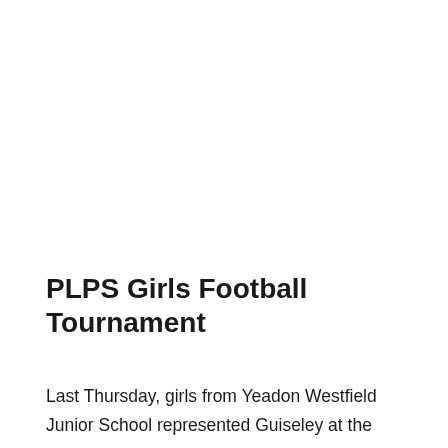PLPS Girls Football Tournament
Last Thursday, girls from Yeadon Westfield Junior School represented Guiseley at the